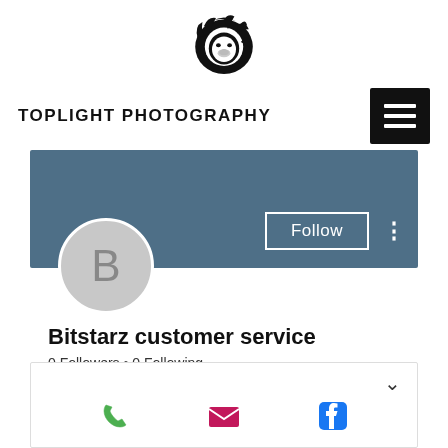[Figure (logo): Lion head logo illustration in black and white]
TOPLIGHT PHOTOGRAPHY
[Figure (other): Hamburger menu button (three horizontal lines on black background)]
[Figure (other): Social media profile page screenshot showing a teal/steel-blue banner with a gray circular avatar with letter B, a Follow button, and a three-dot menu]
Bitstarz customer service
0 Followers • 0 Following
[Figure (other): Contact card with chevron down arrow and three icons: phone (green), email (pink/magenta), and Facebook (blue)]